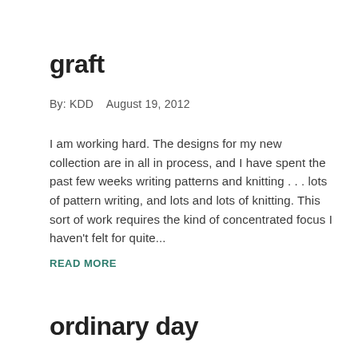graft
By:  KDD    August 19, 2012
I am working hard. The designs for my new collection are in all in process, and I have spent the past few weeks writing patterns and knitting . . . lots of pattern writing, and lots and lots of knitting. This sort of work requires the kind of concentrated focus I haven't felt for quite...
READ MORE
ordinary day